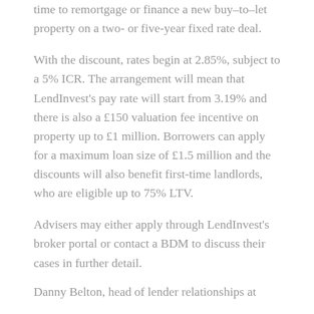time to remortgage or finance a new buy-to-let property on a two- or five-year fixed rate deal.
With the discount, rates begin at 2.85%, subject to a 5% ICR. The arrangement will mean that LendInvest’s pay rate will start from 3.19% and there is also a £150 valuation fee incentive on property up to £1 million. Borrowers can apply for a maximum loan size of £1.5 million and the discounts will also benefit first-time landlords, who are eligible up to 75% LTV.
Advisers may either apply through LendInvest’s broker portal or contact a BDM to discuss their cases in further detail.
Danny Belton, head of lender relationships at